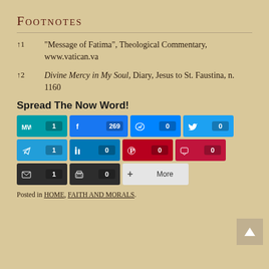Footnotes
↑1  "Message of Fatima", Theological Commentary, www.vatican.va
↑2  Divine Mercy in My Soul, Diary, Jesus to St. Faustina, n. 1160
Spread The Now Word!
[Figure (infographic): Social share buttons grid: MW(1), Facebook(269), Messenger(0), Twitter(0), Telegram(1), LinkedIn(0), Pinterest(0), Pocket(0), Email(1), Print(0), More]
Posted in HOME, FAITH AND MORALS.